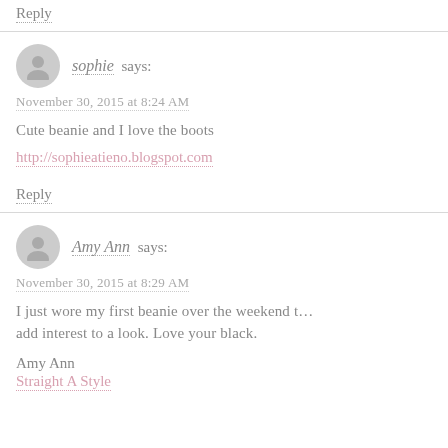Reply
sophie says:
November 30, 2015 at 8:24 AM
Cute beanie and I love the boots
http://sophieatieno.blogspot.com
Reply
Amy Ann says:
November 30, 2015 at 8:29 AM
I just wore my first beanie over the weekend t… add interest to a look. Love your black.
Amy Ann
Straight A Style